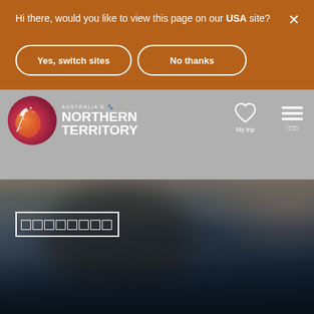Hi there, would you like to view this page on our USA site?
Yes, switch sites
No thanks
[Figure (logo): Australia's Northern Territory logo — circular emblem with red/orange/pink colors and a white egret bird, beside white text reading AUSTRALIA'S NORTHERN TERRITORY]
My trip
[Figure (photo): Blurred dark background photo showing a cave or rock arch formation with dark blue water, with white box-drawing characters forming a heading in the lower left]
□□□□□□□□